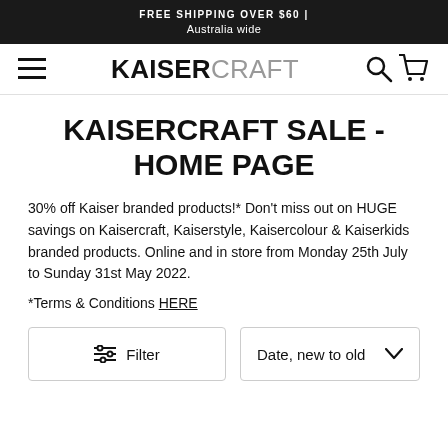FREE SHIPPING OVER $60 | Australia wide
[Figure (logo): Kaisercraft logo with hamburger menu icon on left and search/cart icons on right]
KAISERCRAFT SALE - HOME PAGE
30% off Kaiser branded products!* Don't miss out on HUGE savings on Kaisercraft, Kaiserstyle, Kaisercolour & Kaiserkids branded products. Online and in store from Monday 25th July to Sunday 31st May 2022.
*Terms & Conditions HERE